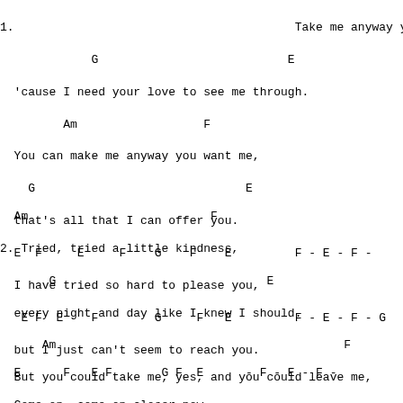1.                                        Take me anyway you want
             G                           E
  'cause I need your love to see me through.
         Am                  F
  You can make me anyway you want me,
    G                              E
  that's all that I can offer you.
  E  F     E     F    G    F    E         F - E - F -
  I have tried so hard to please you,
   E F  E    F        G     F   E         F - E - F - G
  but I just can't seem to reach you.
Am                          F
2. Tried, tried a little kindness,
       G                              E
  every night and day like I knew I should.
      Am                                         F
  But you could take me, yes, and you could leave me,
           G                       E
  but I always stayed, and you knew I would.
      C                       G
  Come on, come on closer now,
Am                G  - G7    + Am - D - F - E (2
  I will get to you somehow.
E      F   E F       G F  E      - F - E - F -
  Come on, come on closer now,
  C                G
  I will get to you somehow,
  Am              G